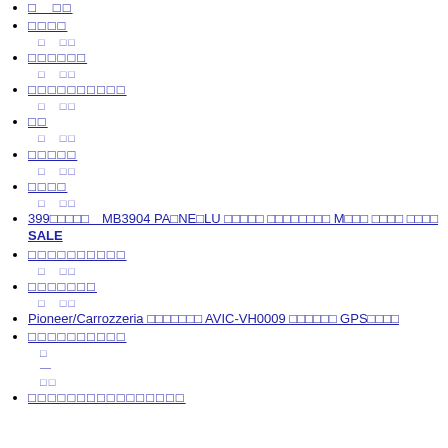□　□□
□□□□
□　□□
□□□□□□
□　□□
□□□□□□□□□□
□　□□
□□
□　□□
□□□□□
□　□□
□□□□
□　□□
399□□□□□　MB3904 PA□NE□LU □□□□□ □□□□□□□□ M□□□ □□□□ □□□□ SALE
□□□□□□□□□□
□　□□
□□□□□□□
□　□□
Pioneer/Carrozzeria □□□□□□□ AVIC-VH0009 □□□□□□ GPS□□□□
□□□□□□□□□□
□
—
□□
□□□□□□□□□□□□□□□□